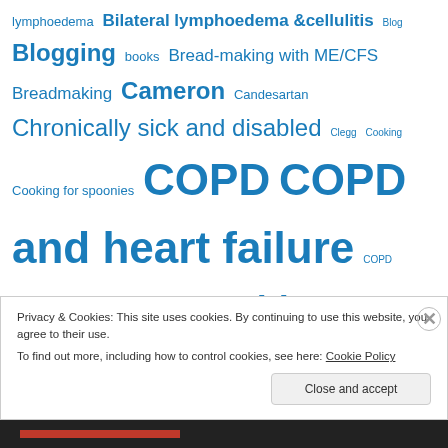lymphoedema Bilateral lymphoedema &cellulitis Blog Blogging books Bread-making with ME/CFS Breadmaking Cameron Candesartan Chronically sick and disabled Clegg Cooking Cooking for spoonies COPD COPD and heart failure COPD medication Cor Pulmonale David Cameron Depression disability Disability benefits Disability discrimination DLA Drugs for COPD Ebooks Ed Miliband ESA Espresso Flu pandemic food Getting medication right Health Heart failure
Privacy & Cookies: This site uses cookies. By continuing to use this website, you agree to their use. To find out more, including how to control cookies, see here: Cookie Policy